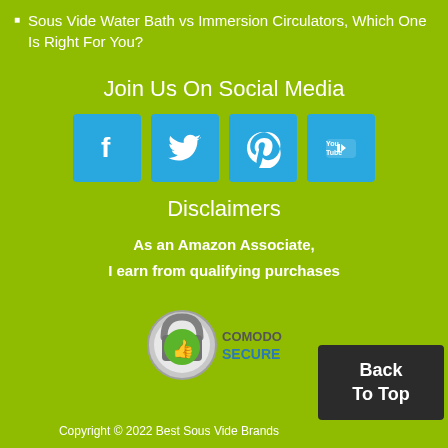Sous Vide Water Bath vs Immersion Circulators, Which One Is Right For You?
Join Us On Social Media
[Figure (infographic): Four social media icon buttons: Facebook (f), Twitter (bird), Pinterest (p), YouTube (play button with 'You Tube' text), all on blue square backgrounds]
Disclaimers
As an Amazon Associate, I earn from qualifying purchases
[Figure (logo): Comodo Secure badge — a padlock icon with a green thumbs-up inside, and 'COMODO SECURE' text to the right]
Back To Top
Copyright © 2022 Best Sous Vide Brands